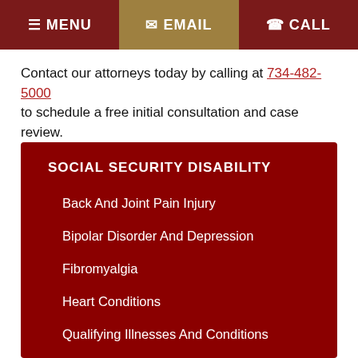MENU | EMAIL | CALL
Contact our attorneys today by calling at 734-482-5000 to schedule a free initial consultation and case review.
SOCIAL SECURITY DISABILITY
Back And Joint Pain Injury
Bipolar Disorder And Depression
Fibromyalgia
Heart Conditions
Qualifying Illnesses And Conditions
SSD Evaluation And Claims Process